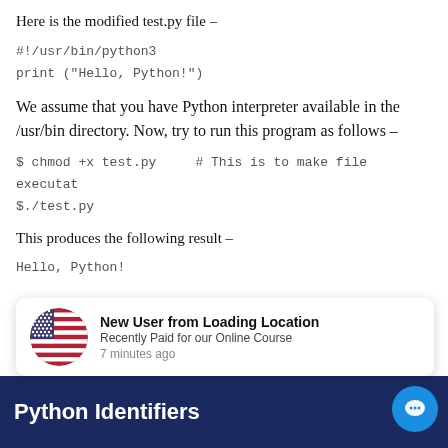Here is the modified test.py file –
#!/usr/bin/python3
print ("Hello, Python!")
We assume that you have Python interpreter available in the /usr/bin directory. Now, try to run this program as follows –
$ chmod +x test.py      # This is to make file executat
$./test.py
This produces the following result –
Hello, Python!
[Figure (other): Notification popup: New User from Loading Location - Recently Paid for our Online Course - 7 minutes ago, with US flag icon]
Python Identifiers